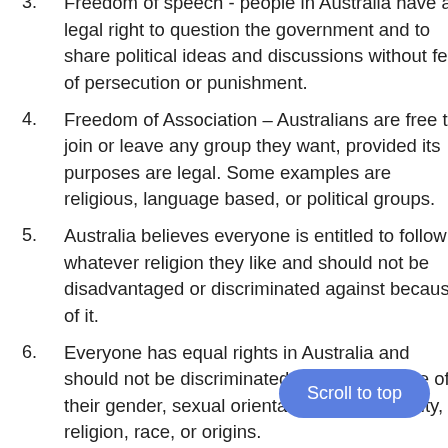3. Freedom of speech - people in Australia have a legal right to question the government and to share political ideas and discussions without fear of persecution or punishment.
4. Freedom of Association – Australians are free to join or leave any group they want, provided its purposes are legal. Some examples are religious, language based, or political groups.
5. Australia believes everyone is entitled to follow whatever religion they like and should not be disadvantaged or discriminated against because of it.
6. Everyone has equal rights in Australia and should not be discriminated against because of their gender, sexual orientation, age, disability, religion, race, or origins.
7. Everyone is entitled to an equal c... regardless of their appearance, family, wealth or